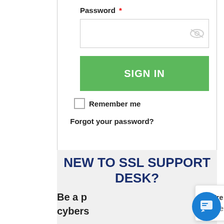Password *
[Figure (screenshot): Password input field with eye/hide icon on the right]
SIGN IN
Remember me
Forgot your password?
NEW TO SSL SUPPORT DESK?
Be a p... cybers...
[Figure (screenshot): Chat widget popup showing 'We're offline' and 'Leave a message' with blue chat button]